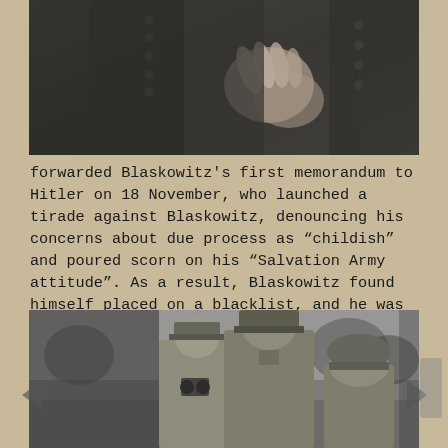[Figure (photo): Black and white photograph showing close-up of military uniforms, hands holding or clasping something, buttons visible on dark military jacket]
forwarded Blaskowitz's first memorandum to Hitler on 18 November, who launched a tirade against Blaskowitz, denouncing his concerns about due process as “childish” and poured scorn on his “Salvation Army attitude”. As a result, Blaskowitz found himself placed on a blacklist, and he was relieved of his command on 29 May 1940.
[Figure (photo): Black and white photograph of three German military officers in uniform, two wearing officer caps and one wearing a steel helmet, standing outdoors with trees in background]